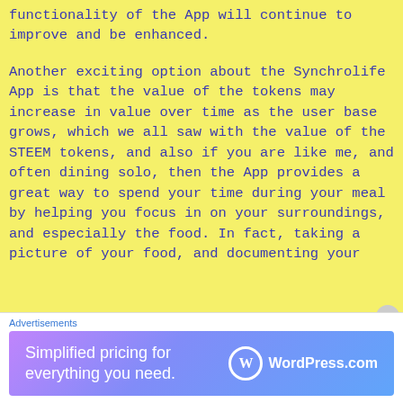functionality of the App will continue to improve and be enhanced.
Another exciting option about the Synchrolife App is that the value of the tokens may increase in value over time as the user base grows, which we all saw with the value of the STEEM tokens, and also if you are like me, and often dining solo, then the App provides a great way to spend your time during your meal by helping you focus in on your surroundings, and especially the food. In fact, taking a picture of your food, and documenting your
Advertisements
[Figure (other): WordPress.com advertisement banner: 'Simplified pricing for everything you need.' with WordPress.com logo on gradient blue-purple background]